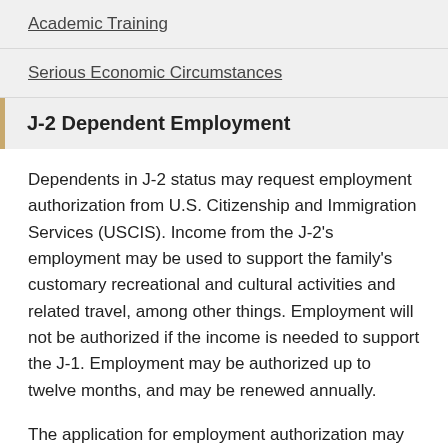Academic Training
Serious Economic Circumstances
J-2 Dependent Employment
Dependents in J-2 status may request employment authorization from U.S. Citizenship and Immigration Services (USCIS). Income from the J-2’s employment may be used to support the family’s customary recreational and cultural activities and related travel, among other things. Employment will not be authorized if the income is needed to support the J-1. Employment may be authorized up to twelve months, and may be renewed annually.
The application for employment authorization may